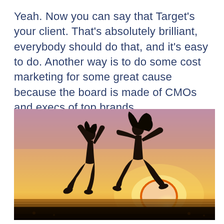Yeah. Now you can say that Target's your client. That's absolutely brilliant, everybody should do that, and it's easy to do. Another way is to do some cost marketing for some great cause because the board is made of CMOs and execs of top brands.
[Figure (photo): Two people silhouetted jumping in the air against a vibrant sunset sky with golden and pink hues over the ocean horizon.]